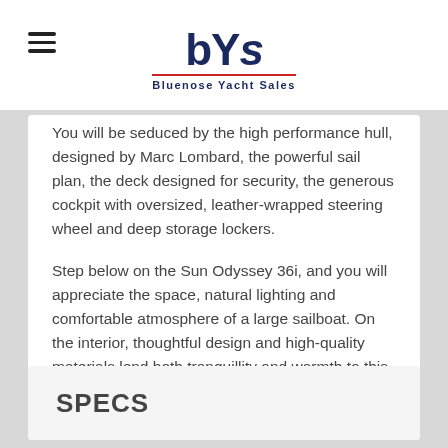bYS Bluenose Yacht Sales
You will be seduced by the high performance hull, designed by Marc Lombard, the powerful sail plan, the deck designed for security, the generous cockpit with oversized, leather-wrapped steering wheel and deep storage lockers.
Step below on the Sun Odyssey 36i, and you will appreciate the space, natural lighting and comfortable atmosphere of a large sailboat. On the interior, thoughtful design and high-quality materials lend both tranquillity and warmth to this beautiful sailboat.
SPECS